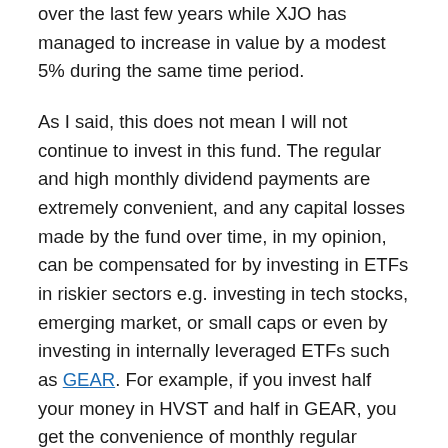over the last few years while XJO has managed to increase in value by a modest 5% during the same time period.
As I said, this does not mean I will not continue to invest in this fund. The regular and high monthly dividend payments are extremely convenient, and any capital losses made by the fund over time, in my opinion, can be compensated for by investing in ETFs in riskier sectors e.g. investing in tech stocks, emerging market, or small caps or even by investing in internally leveraged ETFs such as GEAR. For example, if you invest half your money in HVST and half in GEAR, you get the convenience of monthly regular dividends from HVST and any capital loss is compensated for with your investment in GEAR